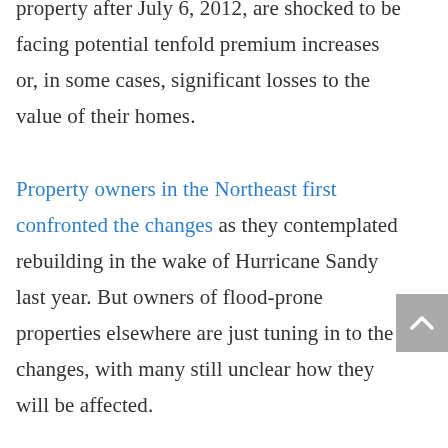property after July 6, 2012, are shocked to be facing potential tenfold premium increases or, in some cases, significant losses to the value of their homes. Property owners in the Northeast first confronted the changes as they contemplated rebuilding in the wake of Hurricane Sandy last year. But owners of flood-prone properties elsewhere are just tuning in to the changes, with many still unclear how they will be affected.